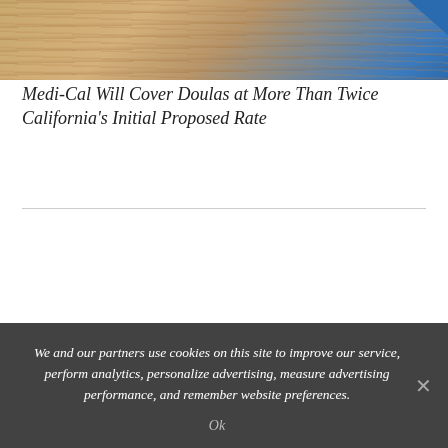[Figure (photo): Top portion of a photo showing wooden surface/table with blue corner element, partially cropped]
Medi-Cal Will Cover Doulas at More Than Twice California's Initial Proposed Rate
[Figure (photo): Two people smiling under a red umbrella outdoors with green foliage in background. Woman with reddish hair on left, man with dark hair on right.]
We and our partners use cookies on this site to improve our service, perform analytics, personalize advertising, measure advertising performance, and remember website preferences.